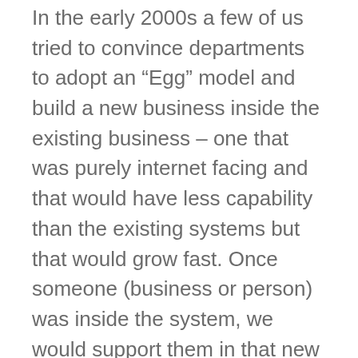In the early 2000s a few of us tried to convince departments to adopt an “Egg” model and build a new business inside the existing business – one that was purely internet facing and that would have less capability than the existing systems but that would grow fast. Once someone (business or person) was inside the system, we would support them in that new system, whatever it took – but it would be a one way ticket. We would gradually migrate everyone into that system, adding functionality and moving ever more complicated customers as the capability grew.
It’s a challenging strategy. It would have been easier in the 2000s. Harder now. Much harder. But possible. With commitment. And a lot of